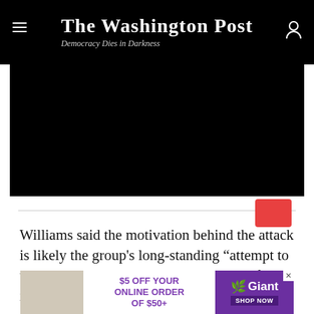The Washington Post — Democracy Dies in Darkness
[Figure (other): Black video player area, with a red/pink play button visible below and to the right]
Williams said the motivation behind the attack is likely the group's long-standing “attempt to undermine Kenya’s willingness to keep forces in AMISOM,” the African Union peacekeeping mission in Somalia.
[Figure (other): Advertisement banner: $5 OFF YOUR ONLINE ORDER OF $50+ Giant SHOP NOW with grocery image on left and Giant logo on right]